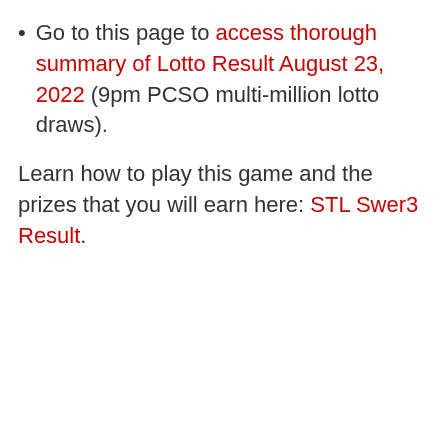Go to this page to access thorough summary of Lotto Result August 23, 2022 (9pm PCSO multi-million lotto draws).
Learn how to play this game and the prizes that you will earn here: STL Swer3 Result.